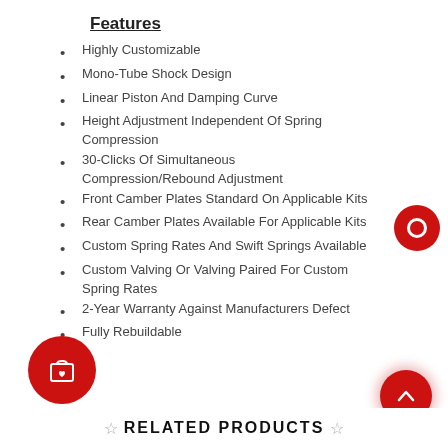Features
Highly Customizable
Mono-Tube Shock Design
Linear Piston And Damping Curve
Height Adjustment Independent Of Spring Compression
30-Clicks Of Simultaneous Compression/Rebound Adjustment
Front Camber Plates Standard On Applicable Kits
Rear Camber Plates Available For Applicable Kits
Custom Spring Rates And Swift Springs Available
Custom Valving Or Valving Paired For Custom Spring Rates
2-Year Warranty Against Manufacturers Defect
Fully Rebuildable
[Figure (illustration): Red circular chat/contact button on the right side]
[Figure (illustration): Red circular shopping cart with heart icon button at bottom left]
[Figure (illustration): Red circular scroll-to-top arrow button at bottom right]
☆  RELATED PRODUCTS  ☆